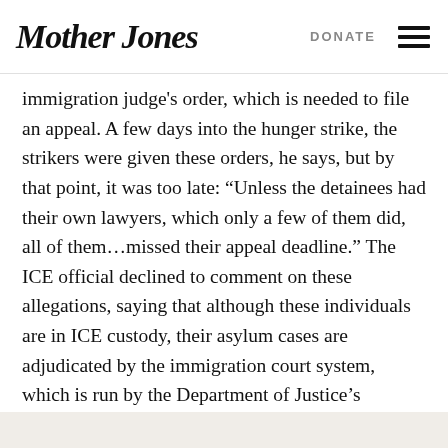Mother Jones   DONATE
immigration judge's order, which is needed to file an appeal. A few days into the hunger strike, the strikers were given these orders, he says, but by that point, it was too late: “Unless the detainees had their own lawyers, which only a few of them did, all of them…missed their appeal deadline.” The ICE official declined to comment on these allegations, saying that although these individuals are in ICE custody, their asylum cases are adjudicated by the immigration court system, which is run by the Department of Justice’s Executive Office for Immigration Review.